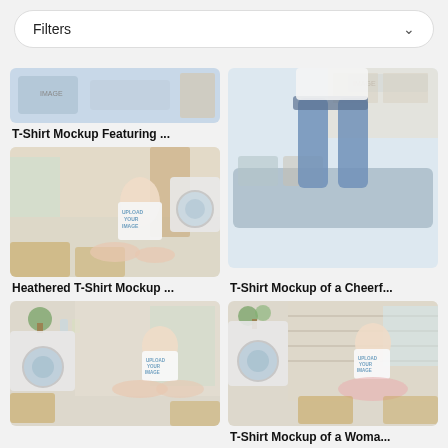Filters
[Figure (photo): T-Shirt Mockup featuring a woman in a laundry room setting (cropped top portion visible)]
T-Shirt Mockup Featuring ...
[Figure (photo): T-Shirt Mockup of a cheerful woman standing on a couch in a modern living room/kitchen, wearing jeans]
T-Shirt Mockup of a Cheerf...
[Figure (photo): Heathered T-Shirt Mockup featuring a woman sitting on the floor in a laundry room with baskets]
Heathered T-Shirt Mockup ...
[Figure (photo): T-Shirt Mockup featuring a woman sitting in a yoga pose on the floor in a laundry room]
[Figure (photo): T-Shirt Mockup of a woman sitting cross-legged on the floor in a laundry room with baskets]
T-Shirt Mockup of a Woma...